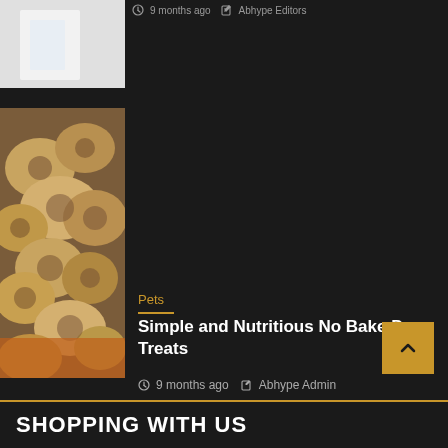[Figure (photo): Partial top image of an article, light gray/white background photo, cropped]
9 months ago  Abhype Editors
[Figure (photo): Close-up photo of bone-shaped dog treats with swirled filling, placed on orange surface]
Pets
Simple and Nutritious No Bake Dog Treats
9 months ago  Abhype Admin
SHOPPING WITH US